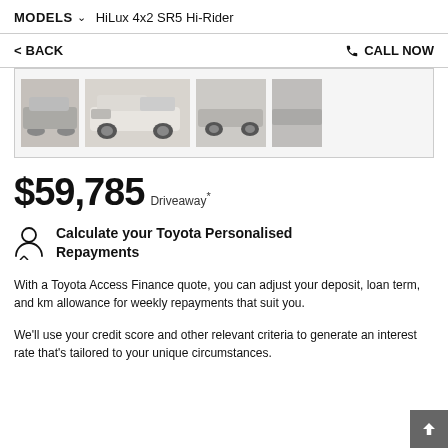MODELS \/ HiLux 4x2 SR5 Hi-Rider
< BACK    CALL NOW
[Figure (photo): Image gallery strip showing four thumbnail photos of a Toyota HiLux pickup truck from various angles against a light background.]
$59,785 Driveaway*
Calculate your Toyota Personalised Repayments
With a Toyota Access Finance quote, you can adjust your deposit, loan term, and km allowance for weekly repayments that suit you.
We'll use your credit score and other relevant criteria to generate an interest rate that's tailored to your unique circumstances.